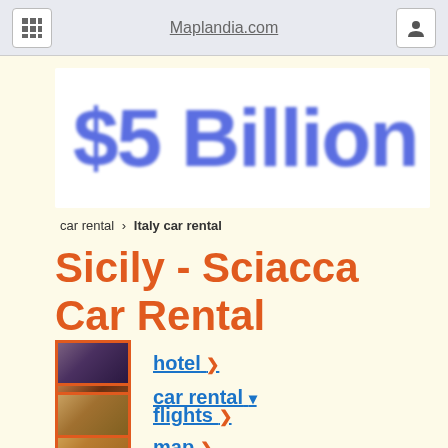Maplandia.com
[Figure (other): Banner advertisement showing '$5 Billion' text in large blue bold font on white background, partially cropped]
car rental > Italy car rental
Sicily - Sciacca Car Rental
car rental ▾
map ▶
hotel ▶
flights ▶